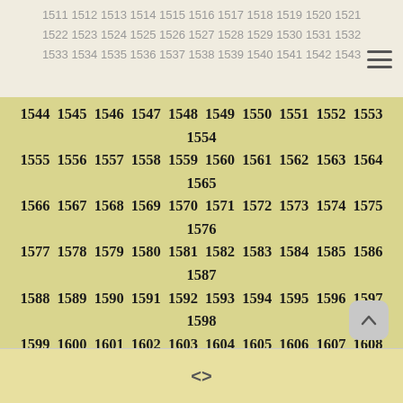1511 1512 1513 1514 1515 1516 1517 1518 1519 1520 1521 1522 1523 1524 1525 1526 1527 1528 1529 1530 1531 1532 1533 1534 1535 1536 1537 1538 1539 1540 1541 1542 1543
1544 1545 1546 1547 1548 1549 1550 1551 1552 1553 1554 1555 1556 1557 1558 1559 1560 1561 1562 1563 1564 1565 1566 1567 1568 1569 1570 1571 1572 1573 1574 1575 1576 1577 1578 1579 1580 1581 1582 1583 1584 1585 1586 1587 1588 1589 1590 1591 1592 1593 1594 1595 1596 1597 1598 1599 1600 1601 1602 1603 1604 1605 1606 1607 1608 1609 1610 1611 1612 1613 1614 1615 1616 1617 1618 1619 1620 1621 1622 1623 1624 1625 1626 1627 1628 1629 1630 1631 1632 1633 1634 1635 1636 1637 1638 1639 1640 1641 1642 1643 1644 1645 1646 1647 1648 1649 1650 1651 1652 1653 1654 1655 1656 1657 1658 1659 1660 1661 1662 1663 1664 1665 1666 1667 1668 1669 1670 1671 1672 1673 1674 1675 1676 1677 1678 1679 1680 1681 1682 1683 1684 1685 1686 1687 1688 1689 1690 1691 1692 1693 1694
<>